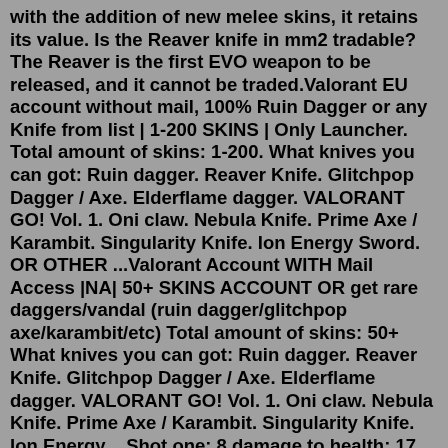with the addition of new melee skins, it retains its value. Is the Reaver knife in mm2 tradable? The Reaver is the first EVO weapon to be released, and it cannot be traded.Valorant EU account without mail, 100% Ruin Dagger or any Knife from list | 1-200 SKINS | Only Launcher. Total amount of skins: 1-200. What knives you can got: Ruin dagger. Reaver Knife. Glitchpop Dagger / Axe. Elderflame dagger. VALORANT GO! Vol. 1. Oni claw. Nebula Knife. Prime Axe / Karambit. Singularity Knife. Ion Energy Sword. OR OTHER ...Valorant Account WITH Mail Access |NA| 50+ SKINS ACCOUNT OR get rare daggers/vandal (ruin dagger/glitchpop axe/karambit/etc) Total amount of skins: 50+ What knives you can got: Ruin dagger. Reaver Knife. Glitchpop Dagger / Axe. Elderflame dagger. VALORANT GO! Vol. 1. Oni claw. Nebula Knife. Prime Axe / Karambit. Singularity Knife. Ion Energy ...Shot one: 8 damage to health; 17 damage to armor. Shot two: 9 damage to health; 17 damage to armor. Shot three: 11 damage to health; 18 damage to armor.